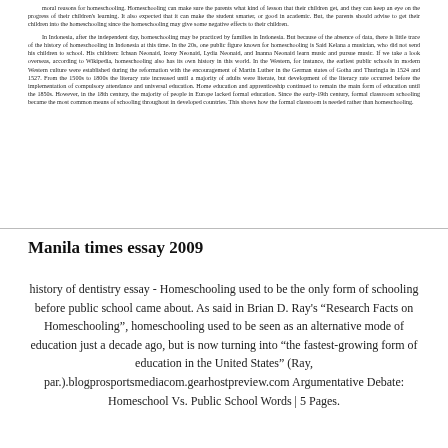moral reasons for homeschooling. Homeschooling can make sure the parents what kind of lesson that their children get, and they can keep an eye on the progress of their children's learning. It also expected that it can make the student smarter, or good in academic. But, the parents should advise to get their children into the homeschooling since the homeschooling may give some negative effects to their children.
In Indonesia, after the independent day, homeschooling may be practiced by families in Indonesia. But because of the absence of data, there is little trace of the history of homeschooling in Indonesia at this time. In the 20s, one public figure known for homeschooling is Said Kelana a musician, who did not send his children to school. His children: Ichsan Neonaid, Iceny Neonaid, Lydia Neonaid, and Inanna Neonaid learn music and pursue music. If we take a look overseas, according to Wikipedia, homeschooling also has its own history in this world. In the Western, for instance, the earliest public schools in modern Western culture were established during the reformation with the encouragement of Martin Luther in the German states of Gotha and Thuringia in 1524 and 1527. From the 1500s to 1800s the literacy rate increased until a majority of adults were literate, but development of the literacy rate occurred before the implementation of compulsory attendance and universal education. Home education and apprenticeship continued to remain the main form of education until the 1850s. However, in the 18th century, the majority of people in Europe lacked formal education. Since the early-19th century, formal classroom schooling became the most common means of schooling throughout in developed countries. This shows how the formal classroom is needed rather than homeschooling.
Manila times essay 2009
history of dentistry essay - Homeschooling used to be the only form of schooling before public school came about. As said in Brian D. Ray's “Research Facts on Homeschooling”, homeschooling used to be seen as an alternative mode of education just a decade ago, but is now turning into “the fastest-growing form of education in the United States” (Ray, par.).blogprosportsmediacom.gearhostpreview.com Argumentative Debate: Homeschool Vs. Public School Words | 5 Pages.